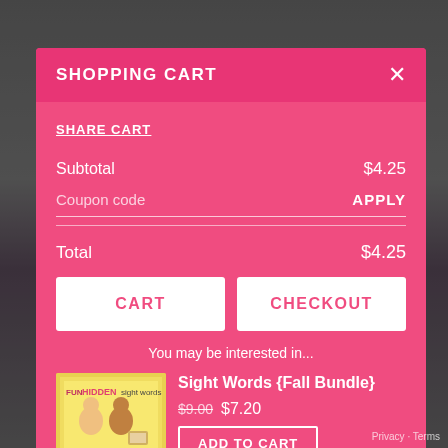SHOPPING CART
SHARE CART
Subtotal $4.25
Coupon code APPLY
Total $4.25
CART
CHECKOUT
You may be interested in...
Sight Words {Fall Bundle}
$9.00 $7.20
ADD TO CART